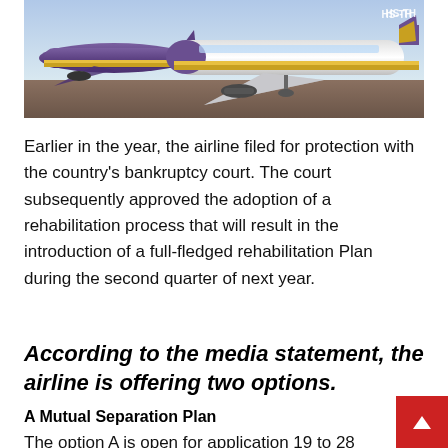[Figure (photo): Thai Airways aircraft (purple and gold livery) parked on airport tarmac, registration HS-TH visible]
Earlier in the year, the airline filed for protection with the country's bankruptcy court. The court subsequently approved the adoption of a rehabilitation process that will result in the introduction of a full-fledged rehabilitation Plan during the second quarter of next year.
According to the media statement, the airline is offering two options.
A Mutual Separation Plan
The option A is open for application 19 to 28 October 2020, and the separation will be effective 1 December. Employe will...